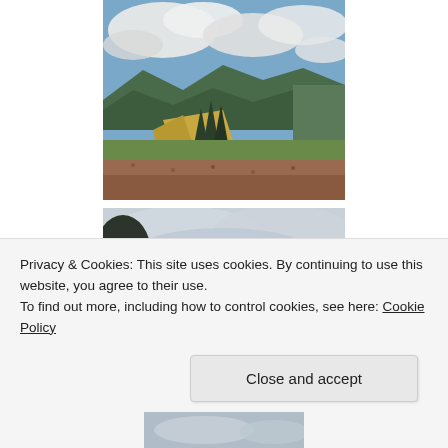[Figure (photo): Landscape photo showing mountain meadows with autumn-colored low shrubs in the foreground, evergreen trees in the middle distance, rolling forested hills and mountains in the background, under a partly cloudy sky.]
[Figure (photo): Photo showing a mostly overcast sky with thick grey-white clouds, with dark tree silhouettes visible at the lower left edge.]
Privacy & Cookies: This site uses cookies. By continuing to use this website, you agree to their use.
To find out more, including how to control cookies, see here: Cookie Policy
[Figure (photo): Partial photo visible at bottom of page showing sky and clouds.]